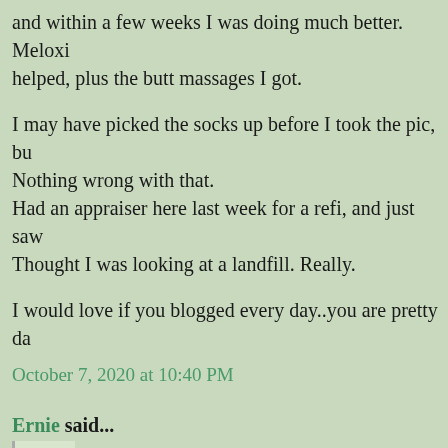and within a few weeks I was doing much better. Meloxi helped, plus the butt massages I got.
I may have picked the socks up before I took the pic, bu Nothing wrong with that.
Had an appraiser here last week for a refi, and just saw Thought I was looking at a landfill. Really.
I would love if you blogged every day..you are pretty da
October 7, 2020 at 10:40 PM
Ernie said...
Cheryl - he IS spoiling you. I am in awe. My physical the involved, ie: needling, exercises, etc. Comfy socks, lotion
Sciatica is painful. Along with my pain, I get an eye-roll f am constantly pointing out that I rarely have time to ge have time to be in pain. I think he missed Bedside 101 - a
I am laughing at landfill. Hilarious. Years ago we had an a important to have the house in perfect 'ready to sell' or